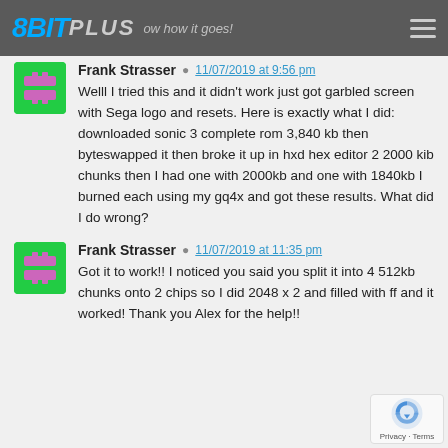8BIT PLUS — how it goes!
Frank Strasser 11/07/2019 at 9:56 pm
Welll I tried this and it didn't work just got garbled screen with Sega logo and resets. Here is exactly what I did: downloaded sonic 3 complete rom 3,840 kb then byteswapped it then broke it up in hxd hex editor 2 2000 kib chunks then I had one with 2000kb and one with 1840kb I burned each using my gq4x and got these results. What did I do wrong?
Frank Strasser 11/07/2019 at 11:35 pm
Got it to work!! I noticed you said you split it into 4 512kb chunks onto 2 chips so I did 2048 x 2 and filled with ff and it worked! Thank you Alex for the help!!